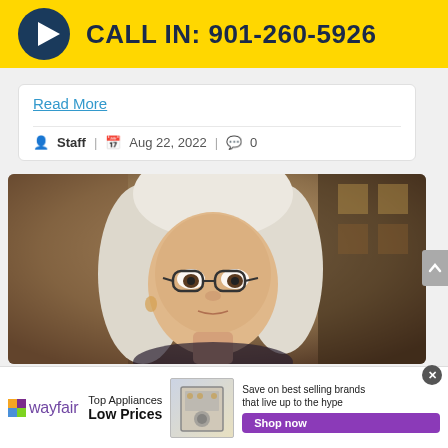[Figure (infographic): Yellow banner with dark navy play button circle icon and bold text 'CALL IN: 901-260-5926']
Read More
Staff | Aug 22, 2022 | 0
[Figure (photo): Photo of a woman with white/blonde hair and glasses looking at camera, indoor background]
[Figure (infographic): Wayfair advertisement banner: 'Top Appliances Low Prices' with appliance image, 'Save on best selling brands that live up to the hype' and 'Shop now' button]